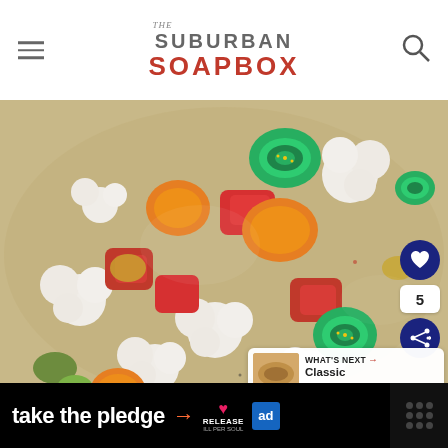THE SUBURBAN SOAPBOX
[Figure (photo): Close-up photo of pickled vegetables including cauliflower florets, sliced jalapenos, red bell pepper chunks, and carrot slices in a marinade]
5
WHAT'S NEXT → Classic Muffuletta...
take the pledge → RELEASE